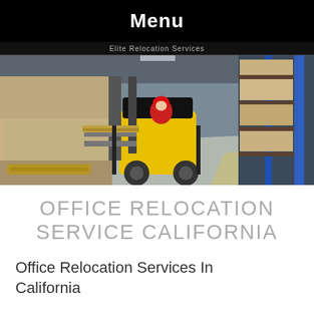Menu
[Figure (photo): Warehouse interior with a yellow forklift operated by a worker in red overalls, surrounded by stacked boxes and pallet shelves.]
OFFICE RELOCATION SERVICE CALIFORNIA
Office Relocation Services In California